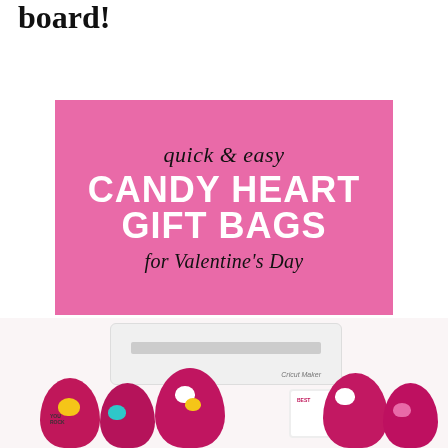board!
[Figure (illustration): Pink promotional card with text: quick & easy CANDY HEART GIFT BAGS for Valentine's Day]
[Figure (photo): Photo of pink drawstring gift bags filled with candy hearts, a Cricut Maker machine in the background, and a white mug. Bags are hot pink/magenta with colorful candy heart decorations.]